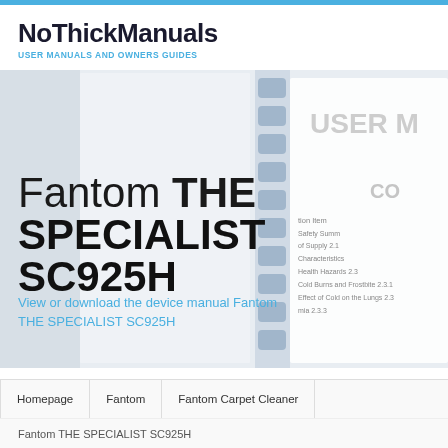NoThickManuals
USER MANUALS AND OWNERS GUIDES
[Figure (photo): Background photo of a spiral-bound user manual booklet, partially visible with text showing table of contents items including Safety Summary, of Supply 2.1, Characteristics, Health Hazards 2.3, Cold Burns and Frostbite 2.3.1, Effect of Cold on the Lungs 2.3, and partially visible text 'USER M' and 'CO']
Fantom THE SPECIALIST SC925H
View or download the device manual Fantom THE SPECIALIST SC925H
Homepage
Fantom
Fantom Carpet Cleaner
Fantom THE SPECIALIST SC925H